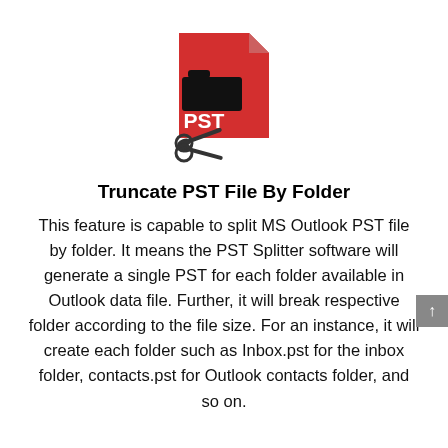[Figure (illustration): A red PST file icon with a black folder icon on it, and scissors below it suggesting cutting/splitting the file.]
Truncate PST File By Folder
This feature is capable to split MS Outlook PST file by folder. It means the PST Splitter software will generate a single PST for each folder available in Outlook data file. Further, it will break respective folder according to the file size. For an instance, it will create each folder such as Inbox.pst for the inbox folder, contacts.pst for Outlook contacts folder, and so on.